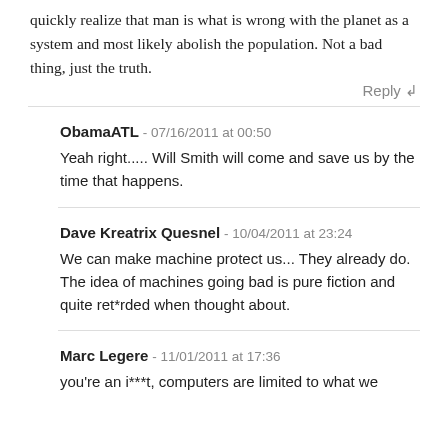quickly realize that man is what is wrong with the planet as a system and most likely abolish the population. Not a bad thing, just the truth.
Reply ↲
ObamaATL - 07/16/2011 at 00:50
Yeah right..... Will Smith will come and save us by the time that happens.
Dave Kreatrix Quesnel - 10/04/2011 at 23:24
We can make machine protect us... They already do. The idea of machines going bad is pure fiction and quite ret*rded when thought about.
Marc Legere - 11/01/2011 at 17:36
you're an i***t, computers are limited to what we